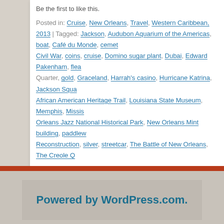Be the first to like this.
Posted in: Cruise, New Orleans, Travel, Western Caribbean, 2013 | Tagged: Jackson, Audubon Aquarium of the Americas, boat, Café du Monde, ceme[tery], Civil War, coins, cruise, Domino sugar plant, Dubai, Edward Pakenham, flea[…] Quarter, gold, Graceland, Harrah's casino, Hurricane Katrina, Jackson Squa[re], African American Heritage Trail, Louisiana State Museum, Memphis, Missis[sippi], Orleans Jazz National Historical Park, New Orleans Mint building, paddlew[heel], Reconstruction, silver, streetcar, The Battle of New Orleans, The Creole Q[uarter]
Powered by WordPress.com.